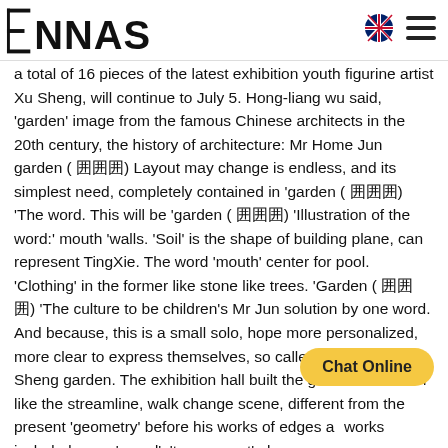ENNAS
a total of 16 pieces of the latest exhibition youth figurine artist Xu Sheng, will continue to July 5. Hong-liang wu said, 'garden' image from the famous Chinese architects in the 20th century, the history of architecture: Mr Home Jun garden ( 囲囲囲) Layout may change is endless, and its simplest need, completely contained in 'garden ( 囲囲囲) 'The word. This will be 'garden ( 囲囲囲) 'Illustration of the word:' mouth 'walls. 'Soil' is the shape of building plane, can represent TingXie. The word 'mouth' center for pool. 'Clothing' in the former like stone like trees. 'Garden ( 囲囲囲) 'The culture to be children's Mr Jun solution by one word. And because, this is a small solo, hope more personalized, more clear to express themselves, so called Xu Yuan, Xu Sheng garden. The exhibition hall built the garden the watch like the streamline, walk change scene, different from the present 'geometry' before his works of edges ar works included more 'round', 'transparent' eleme